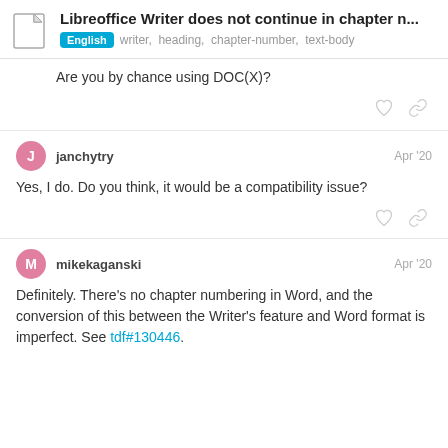Libreoffice Writer does not continue in chapter n...
English  writer,  heading,  chapter-number,  text-body
Are you by chance using DOC(X)?
janchytry   Apr '20
Yes, I do. Do you think, it would be a compatibility issue?
mikekaganski   Apr '20
Definitely. There's no chapter numbering in Word, and the conversion of this between the Writer's feature and Word format is imperfect. See tdf#130446.